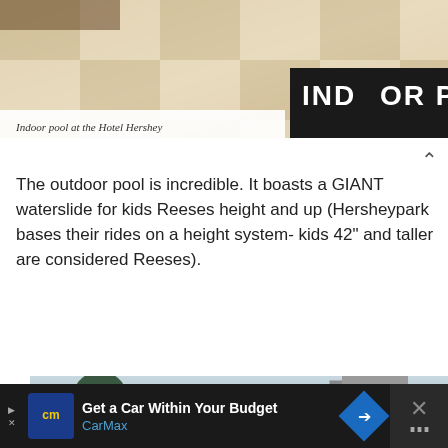[Figure (photo): Indoor pool area at Hotel Hershey showing tiled floor with checkerboard pattern and sign reading INDOOR POOL]
Indoor pool at the Hotel Hershey
The outdoor pool is incredible. It boasts a GIANT waterslide for kids Reeses height and up (Hersheypark bases their rides on a height system- kids 42" and taller are considered Reeses).
[Figure (photo): Outdoor water slide tower with blue tubes at Hersheypark, trees visible in background against cloudy sky]
[Figure (other): Advertisement banner: Get a Car Within Your Budget - CarMax]